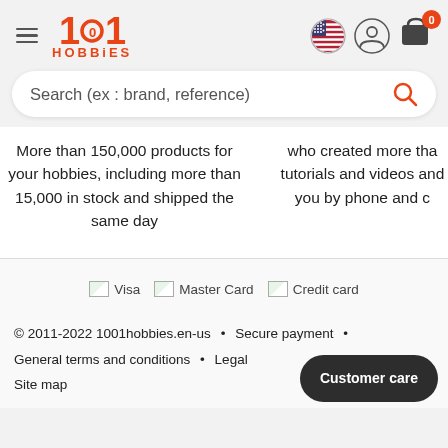1001 HOBBIES
Search (ex : brand, reference)
More than 150,000 products for your hobbies, including more than 15,000 in stock and shipped the same day
who created more than tutorials and videos and you by phone and c
[Figure (other): Payment method icons: Visa, Master Card, Credit card]
© 2011-2022 1001hobbies.en-us • Secure payment • General terms and conditions • Legal Site map